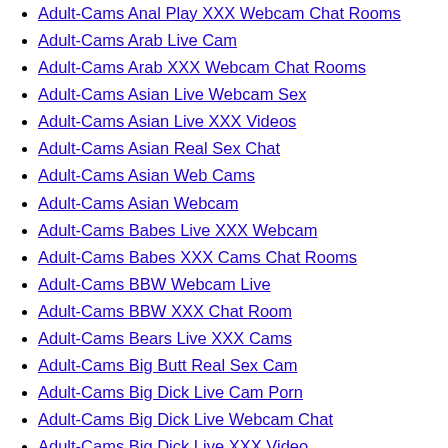Adult-Cams Anal Play XXX Webcam Chat Rooms
Adult-Cams Arab Live Cam
Adult-Cams Arab XXX Webcam Chat Rooms
Adult-Cams Asian Live Webcam Sex
Adult-Cams Asian Live XXX Videos
Adult-Cams Asian Real Sex Chat
Adult-Cams Asian Web Cams
Adult-Cams Asian Webcam
Adult-Cams Babes Live XXX Webcam
Adult-Cams Babes XXX Cams Chat Rooms
Adult-Cams BBW Webcam Live
Adult-Cams BBW XXX Chat Room
Adult-Cams Bears Live XXX Cams
Adult-Cams Big Butt Real Sex Cam
Adult-Cams Big Dick Live Cam Porn
Adult-Cams Big Dick Live Webcam Chat
Adult-Cams Big Dick Live XXX Video
Adult-Cams Big Dick XXX Web Cams Chat Rooms
Adult-Cams Big Tits Live Cam
Adult-Cams Big Tits Web Cams Chat
Adult-Cams Big Tits XXX Cam Chat Rooms
Adult-Cams Big Tits XXX Cams Chat Rooms
Adult-Cams Big Tits XXX Webcam Chat Rooms
Adult-Cams Bisexual Guys Live Cam Porn